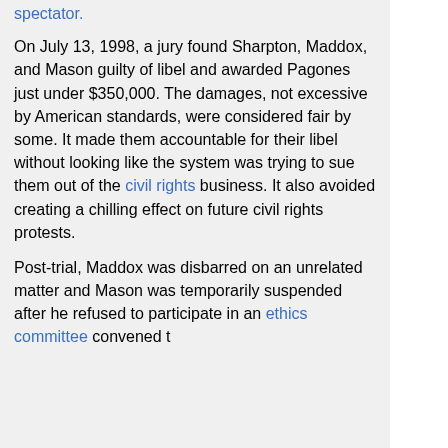spectator.
On July 13, 1998, a jury found Sharpton, Maddox, and Mason guilty of libel and awarded Pagones just under $350,000. The damages, not excessive by American standards, were considered fair by some. It made them accountable for their libel without looking like the system was trying to sue them out of the civil rights business. It also avoided creating a chilling effect on future civil rights protests.
Post-trial, Maddox was disbarred on an unrelated matter and Mason was temporarily suspended after he refused to participate in an ethics committee convened to review his behavior.